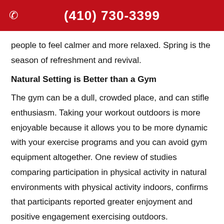(410) 730-3399
people to feel calmer and more relaxed. Spring is the season of refreshment and revival.
Natural Setting is Better than a Gym
The gym can be a dull, crowded place, and can stifle enthusiasm. Taking your workout outdoors is more enjoyable because it allows you to be more dynamic with your exercise programs and you can avoid gym equipment altogether. One review of studies comparing participation in physical activity in natural environments with physical activity indoors, confirms that participants reported greater enjoyment and positive engagement exercising outdoors.
Jazz up Your Mood